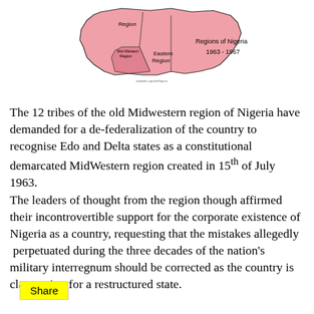[Figure (map): Map of Regions of Nigeria 1963-1967, showing the Mid-Western Region (pink/shaded), Eastern Region, and other regions labeled. The map is outlined with region boundaries.]
The 12 tribes of the old Midwestern region of Nigeria have demanded for a de-federalization of the country to recognise Edo and Delta states as a constitutional demarcated MidWestern region created in 15th of July 1963. The leaders of thought from the region though affirmed their incontrovertible support for the corporate existence of Nigeria as a country, requesting that the mistakes allegedly perpetuated during the three decades of the nation's military interregnum should be corrected as the country is clamouring for a restructured state.
Share